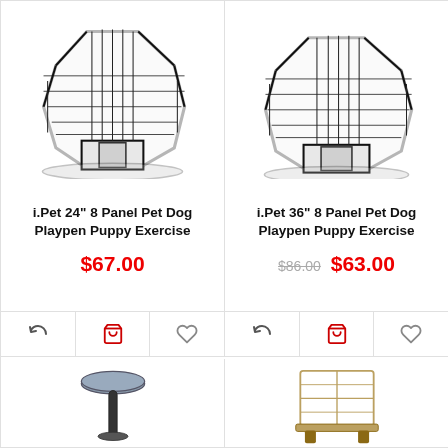[Figure (photo): i.Pet 24 inch 8 panel pet dog playpen puppy exercise pen, octagonal wire metal fence]
i.Pet 24" 8 Panel Pet Dog Playpen Puppy Exercise
$67.00
[Figure (photo): i.Pet 36 inch 8 panel pet dog playpen puppy exercise pen, octagonal wire metal fence]
i.Pet 36" 8 Panel Pet Dog Playpen Puppy Exercise
$86.00 $63.00
[Figure (photo): Partial view of a cat tree or pet stool at the bottom left]
[Figure (photo): Partial view of a cat tree or pet enclosure at the bottom right]